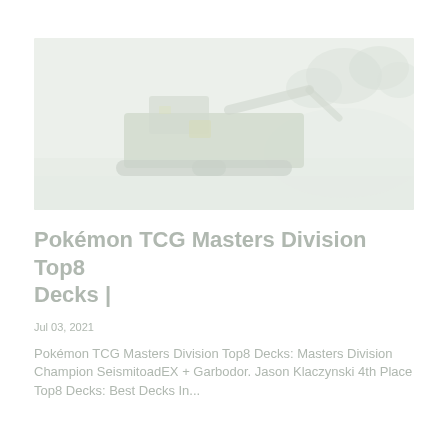[Figure (photo): Faded/washed-out photo of heavy industrial construction machinery (green crawler/tracked machine) on a dirt/gravel site with trees in background. Image appears very light/bleached.]
Pokémon TCG Masters Division Top8 Decks |
Jul 03, 2021
Pokémon TCG Masters Division Top8 Decks: Masters Division Champion SeismitoadEX + Garbodor. Jason Klaczynski 4th Place Top8 Decks: Best Decks In...